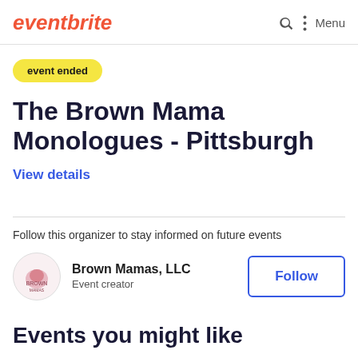eventbrite
event ended
The Brown Mama Monologues - Pittsburgh
View details
Follow this organizer to stay informed on future events
Brown Mamas, LLC
Event creator
Follow
Events you might like